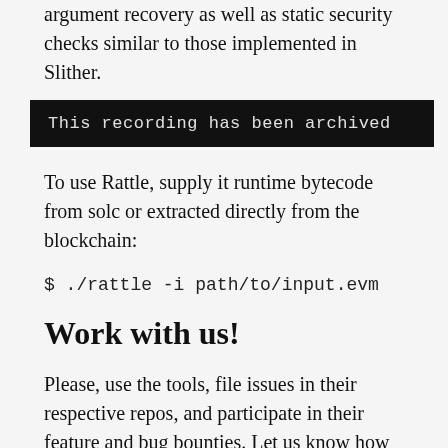argument recovery as well as static security checks similar to those implemented in Slither.
[Figure (screenshot): Dark banner with monospace white text: 'This recording has been archived']
To use Rattle, supply it runtime bytecode from solc or extracted directly from the blockchain:
$ ./rattle -i path/to/input.evm
Work with us!
Please, use the tools, file issues in their respective repos, and participate in their feature and bug bounties. Let us know how they could be better on the Empire Hacking Slack in